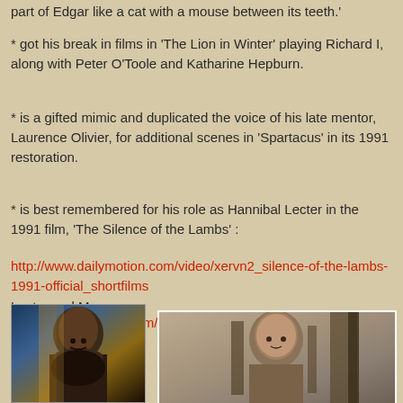part of Edgar like a cat with a mouse between its teeth.'
* got his break in films in 'The Lion in Winter' playing Richard I, along with Peter O'Toole and Katharine Hepburn.
* is a gifted mimic and duplicated the voice of his late mentor, Laurence Olivier, for additional scenes in 'Spartacus' in its 1991 restoration.
* is best remembered for his role as Hannibal Lecter in the 1991 film, 'The Silence of the Lambs' :
http://www.dailymotion.com/video/xervn2_silence-of-the-lambs-1991-official_shortfilms
Lecter and Me :
http://www.youtube.com/watch?v=NP-Dw81oFJc
[Figure (photo): Dark photo of a bald man with a beard, shirtless, dramatic lighting]
[Figure (photo): Photo of a bald man near a wooden structure, lighter background, framed with white border]